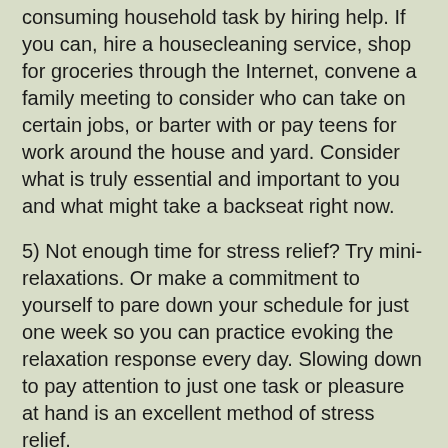4) Overextended? Clear the deck of at least one time-consuming household task by hiring help. If you can, hire a housecleaning service, shop for groceries through the Internet, convene a family meeting to consider who can take on certain jobs, or barter with or pay teens for work around the house and yard. Consider what is truly essential and important to you and what might take a backseat right now.
5) Not enough time for stress relief? Try mini-relaxations. Or make a commitment to yourself to pare down your schedule for just one week so you can practice evoking the relaxation response every day. Slowing down to pay attention to just one task or pleasure at hand is an excellent method of stress relief.
6) Feeling unbearably tense? Try massage, a hot bath, mini-relaxations, a body scan, or a mindful walk. Practically any exercise — a brisk walk, a quick run, a sprint up and down the stairs — will help, too. Done regularly, exercise wards off tension, as do relaxation response techniques.
7) Frequently feel pessimistic? Remind yourself of the value of learned optimism: a more joyful life and, quite possibly,